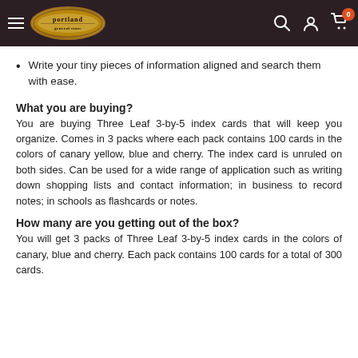Portland logo navigation bar with hamburger menu, logo, search, account, and cart (0) icons
Write your tiny pieces of information aligned and search them with ease.
What you are buying?
You are buying Three Leaf 3-by-5 index cards that will keep you organize. Comes in 3 packs where each pack contains 100 cards in the colors of canary yellow, blue and cherry. The index card is unruled on both sides. Can be used for a wide range of application such as writing down shopping lists and contact information; in business to record notes; in schools as flashcards or notes.
How many are you getting out of the box?
You will get 3 packs of Three Leaf 3-by-5 index cards in the colors of canary, blue and cherry. Each pack contains 100 cards for a total of 300 cards.